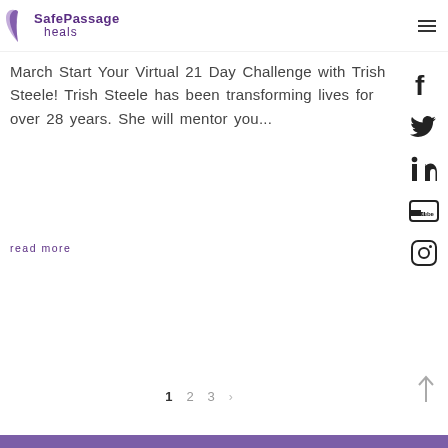SafePassage heals
March Start Your Virtual 21 Day Challenge with Trish Steele! Trish Steele has been transforming lives for over 28 years. She will mentor you...
read more
[Figure (other): Social media icons sidebar: Facebook, Twitter, LinkedIn, YouTube, Instagram]
[Figure (other): Back to top arrow button]
1  2  3  >